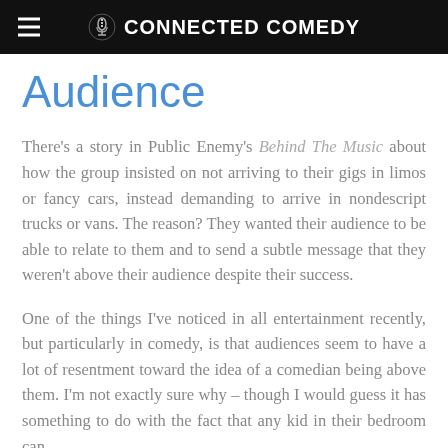CONNECTED COMEDY
Audience
There's a story in Public Enemy's Behind The Music about how the group insisted on not arriving to their gigs in limos or fancy cars, instead demanding to arrive in nondescript trucks or vans. The reason? They wanted their audience to be able to relate to them and to send a subtle message that they weren't above their audience despite their success.
One of the things I've noticed in all entertainment recently, but particularly in comedy, is that audiences seem to have a lot of resentment toward the idea of a comedian being above them. I'm not exactly sure why – though I would guess it has something to do with the fact that any kid in their bedroom can